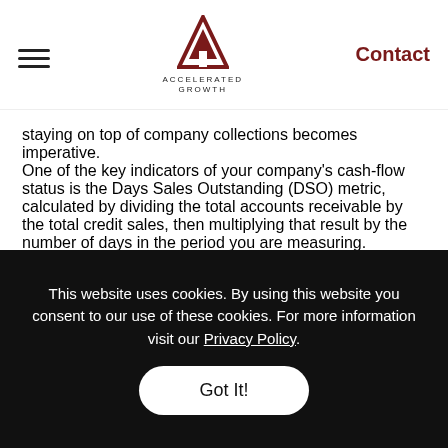Accelerated Growth — Contact
staying on top of company collections becomes imperative. One of the key indicators of your company's cash-flow status is the Days Sales Outstanding (DSO) metric, calculated by dividing the total accounts receivable by the total credit sales, then multiplying that result by the number of days in the period you are measuring.
This website uses cookies. By using this website you consent to our use of these cookies. For more information visit our Privacy Policy.